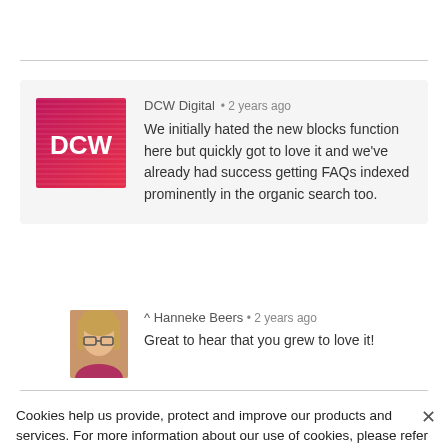[Figure (other): DCW Digital logo: red-to-pink gradient square with horizontal stripe texture and white text 'DCW']
DCW Digital  •  2 years ago
We initially hated the new blocks function here but quickly got to love it and we've already had success getting FAQs indexed prominently in the organic search too.
[Figure (photo): Profile photo of Hanneke Beers, a woman with glasses and blonde hair]
^ Hanneke Beers  •  2 years ago
Great to hear that you grew to love it!
Cookies help us provide, protect and improve our products and services. For more information about our use of cookies, please refer to our Privacy policy.